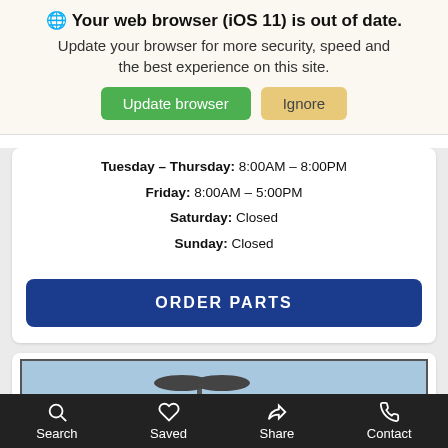🌐 Your web browser (iOS 11) is out of date. Update your browser for more security, speed and the best experience on this site.
Update browser | Ignore
Tuesday – Thursday: 8:00AM – 8:00PM
Friday: 8:00AM – 5:00PM
Saturday: Closed
Sunday: Closed
ORDER PARTS
[Figure (photo): Exterior photo of Balise Lexus dealership building with a street lamp in the foreground and blue sky in the background]
Search  Saved  Share  Contact